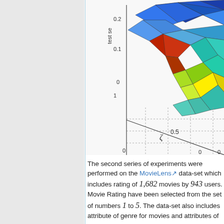[Figure (continuous-plot): 3D surface plot (mesh/surf) showing a colored surface with axes. Z-axis labeled 'test se...' with values 0, 0.1, 0.2. One axis labeled 'zeta' with value 0.5. Other axes show values 0, 1, 0, 0. Surface has multicolor regions including blue, red, yellow, cyan, green.]
The second series of experiments were performed on the MovieLens data-set which includes rating of 1,682 movies by 943 users. Movie Rating have been selected from the set of numbers 1 to 5. The data-set also includes attribute of genre for movies and attributes of age,